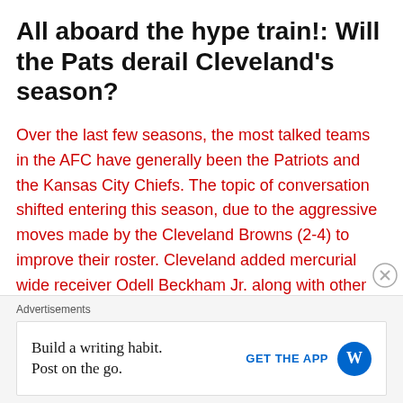All aboard the hype train!: Will the Pats derail Cleveland's season?
Over the last few seasons, the most talked teams in the AFC have generally been the Patriots and the Kansas City Chiefs. The topic of conversation shifted entering this season, due to the aggressive moves made by the Cleveland Browns (2-4) to improve their roster. Cleveland added mercurial wide receiver Odell Beckham Jr. along with other stars such as Kareem Hunt, Olivier Vernon, and Sheldon Richardson to complement their young core of Baker Mayfield, Jarvis Landry, Myles Garrett, and Nick Chubb. Cleveland has fell short of their title expectations thus far, but their talent alone should make the Patriots worried about
Advertisements
Build a writing habit. Post on the go.
GET THE APP